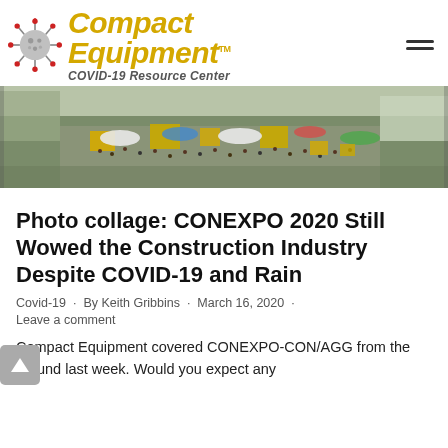Compact Equipment COVID-19 Resource Center
[Figure (photo): Aerial view of CONEXPO 2020 construction equipment exhibition grounds with heavy machinery, tents, and large crowds]
Photo collage: CONEXPO 2020 Still Wowed the Construction Industry Despite COVID-19 and Rain
Covid-19 · By Keith Gribbins · March 16, 2020 · Leave a comment
Compact Equipment covered CONEXPO-CON/AGG from the ground last week. Would you expect any